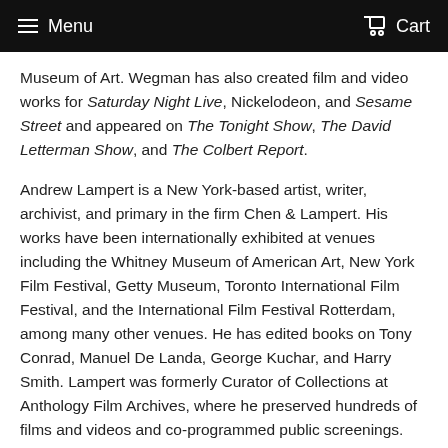Menu  Cart
Museum of Art. Wegman has also created film and video works for Saturday Night Live, Nickelodeon, and Sesame Street and appeared on The Tonight Show, The David Letterman Show, and The Colbert Report.
Andrew Lampert is a New York-based artist, writer, archivist, and primary in the firm Chen & Lampert. His works have been internationally exhibited at venues including the Whitney Museum of American Art, New York Film Festival, Getty Museum, Toronto International Film Festival, and the International Film Festival Rotterdam, among many other venues. He has edited books on Tony Conrad, Manuel De Landa, George Kuchar, and Harry Smith. Lampert was formerly Curator of Collections at Anthology Film Archives, where he preserved hundreds of films and videos and co-programmed public screenings.